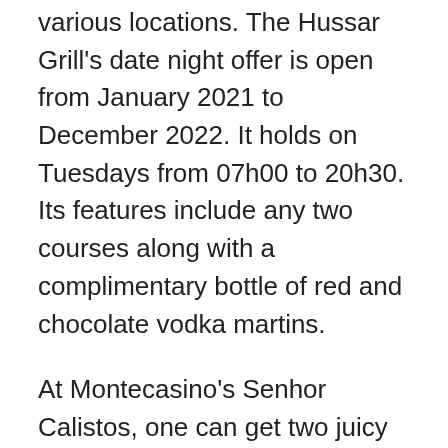various locations. The Hussar Grill's date night offer is open from January 2021 to December 2022. It holds on Tuesdays from 07h00 to 20h30. Its features include any two courses along with a complimentary bottle of red and chocolate vodka martins.
At Montecasino's Senhor Calistos, one can get two juicy burgers for the price of one on Tuesdays, while Texan Wing Bar midweek specials offer draught beers for R25 per 500ml and 1kg pork ribs with fries for R189 on Mondays. Also, on Thursdays at the bar, all cocktails, excluding bottle listings and shooters, are sold for half price. La Rosa further hosts a weekly special which includes a free offer of a 500ml